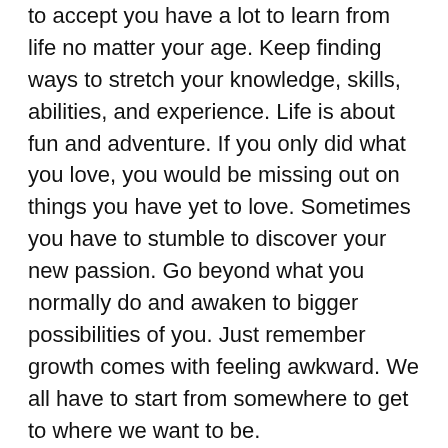to accept you have a lot to learn from life no matter your age. Keep finding ways to stretch your knowledge, skills, abilities, and experience. Life is about fun and adventure. If you only did what you love, you would be missing out on things you have yet to love. Sometimes you have to stumble to discover your new passion. Go beyond what you normally do and awaken to bigger possibilities of you. Just remember growth comes with feeling awkward. We all have to start from somewhere to get to where we want to be.
3. Build meaningful healthy relationships. Relationships enrich our lives and experiences with the world. Relationships help us in loving and cherishing life. From our relationships we get the support we need to become better individuals. We learn to cooperate, collaborate, and work as a team. We realize there's more to life than ourselves.